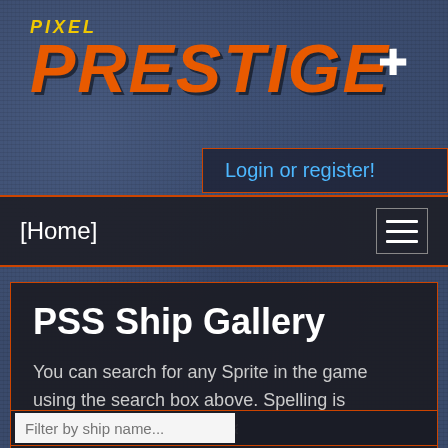[Figure (screenshot): Pixel Prestige website header with dark blue pixel-art background]
PIXEL PRESTIGE
Login or register!
[Home]
PSS Ship Gallery
You can search for any Sprite in the game using the search box above. Spelling is important however so please use the suggested names to ensure you find exactly who you're looking for.
Filter by ship name...